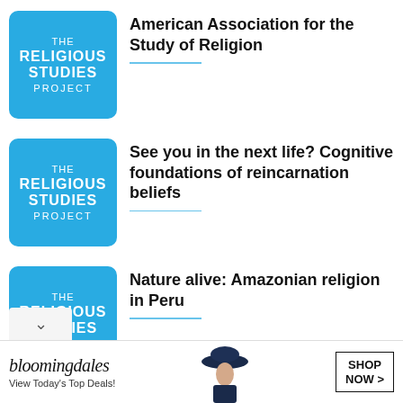[Figure (logo): The Religious Studies Project logo – teal square with white text]
American Association for the Study of Religion
[Figure (logo): The Religious Studies Project logo – teal square with white text]
See you in the next life? Cognitive foundations of reincarnation beliefs
[Figure (logo): The Religious Studies Project logo – teal square with white text]
Nature alive: Amazonian religion in Peru
[Figure (screenshot): Bloomingdale's advertisement banner: 'View Today's Top Deals!' with SHOP NOW button and woman in hat]